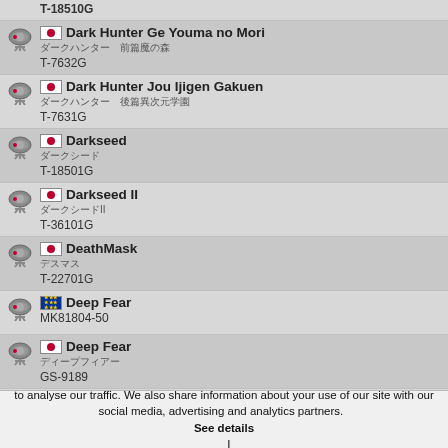T-18510G
Dark Hunter Ge Youma no Mori | JP flag | subtitle (Japanese) | T-7632G
Dark Hunter Jou Ijigen Gakuen | JP flag | subtitle (Japanese) | T-7631G
Darkseed | JP flag | subtitle (Japanese) | T-18501G
Darkseed II | JP flag | subtitle (Japanese) | T-36101G
DeathMask | JP flag | subtitle (Japanese) | T-22701G
Deep Fear | EU flag | MK81804-50
Deep Fear | JP flag | subtitle (Japanese) | GS-9189
Defcon 5 | EU flag | T-25401H-50
We use cookies to personalise content and ads, to provide social media features and to analyse our traffic. We also share information about your use of our site with our social media, advertising and analytics partners. See details | I agree